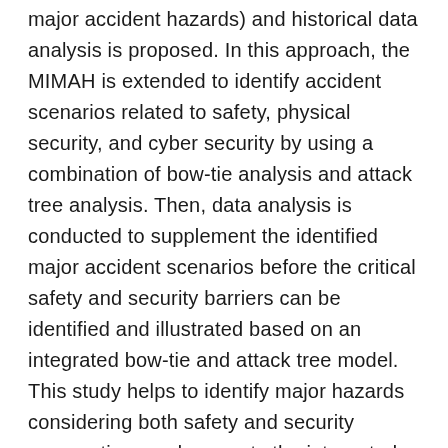major accident hazards) and historical data analysis is proposed. In this approach, the MIMAH is extended to identify accident scenarios related to safety, physical security, and cyber security by using a combination of bow-tie analysis and attack tree analysis. Then, data analysis is conducted to supplement the identified major accident scenarios before the critical safety and security barriers can be identified and illustrated based on an integrated bow-tie and attack tree model. This study helps to identify major hazards considering both safety and security perspectives and supports the integrated assessment and management of safety and security barriers in the chemical process industries.